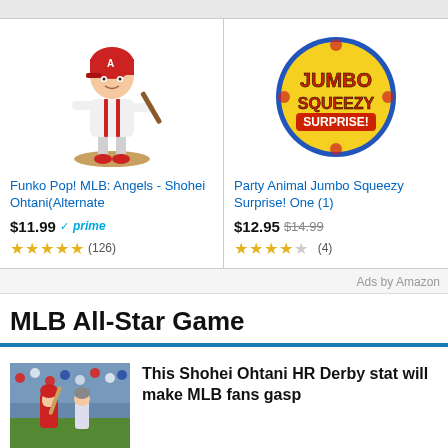[Figure (other): Funko Pop! MLB Angels Shohei Ohtani figurine in red uniform swinging bat]
Funko Pop! MLB: Angels - Shohei Ohtani(Alternate
$11.99 ✓prime ★★★★★ (126)
[Figure (other): Party Animal Jumbo Squeezy Surprise! ball toy with yellow packaging]
Party Animal Jumbo Squeezy Surprise! One (1)
$12.95 $14.99 ★★★★☆ (4)
Ads by Amazon
MLB All-Star Game
[Figure (photo): Baseball player in red uniform at bat during a game]
This Shohei Ohtani HR Derby stat will make MLB fans gasp